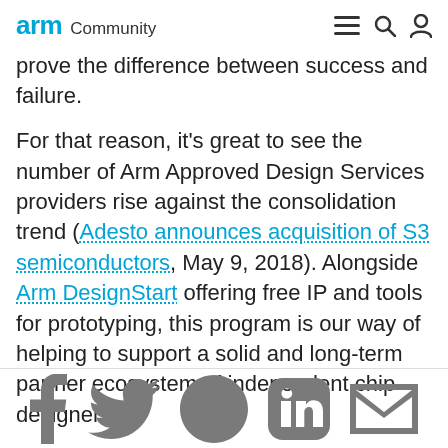arm Community
prove the difference between success and failure.
For that reason, it's great to see the number of Arm Approved Design Services providers rise against the consolidation trend (Adesto announces acquisition of S3 semiconductors, May 9, 2018). Alongside Arm DesignStart offering free IP and tools for prototyping, this program is our way of helping to support a solid and long-term partner ecosystem of independent chip designers.
[Figure (infographic): Social sharing icons: Facebook, Twitter, Reddit, LinkedIn, Email]